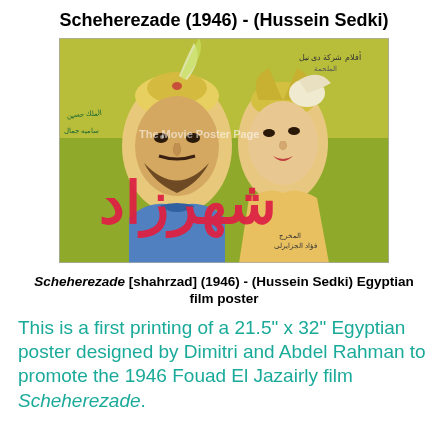Scheherezade (1946) - (Hussein Sedki)
[Figure (photo): Egyptian film poster for Scheherezade (1946), showing illustrated portraits of a bearded man in a turban and a woman, with Arabic script title in red across the lower portion of the poster. A watermark reads 'The Movie Poster Page'.]
Scheherezade [shahrzad] (1946) - (Hussein Sedki) Egyptian film poster
This is a first printing of a 21.5" x 32" Egyptian poster designed by Dimitri and Abdel Rahman to promote the 1946 Fouad El Jazairly film Scheherezade.